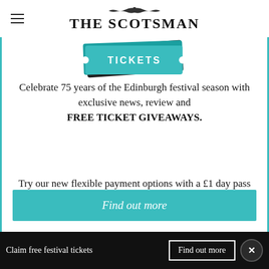THE SCOTSMAN
[Figure (illustration): Teal/turquoise festival tickets image at top of promotional box]
Celebrate 75 years of the Edinburgh festival season with exclusive news, review and FREE TICKET GIVEAWAYS.
Try our new flexible payment options with a £1 day pass or £5 month pass for unlimited access only for the festival period.
Find out more
Claim free festival tickets  Find out more  ×